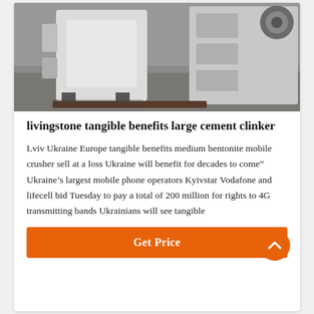[Figure (photo): Industrial machinery / cement clinker crusher equipment in a factory setting, large white metal machine on a concrete floor]
livingstone tangible benefits large cement clinker
Lviv Ukraine Europe tangible benefits medium bentonite mobile crusher sell at a loss Ukraine will benefit for decades to come” Ukraine’s largest mobile phone operators Kyivstar Vodafone and lifecell bid Tuesday to pay a total of 200 million for rights to 4G transmitting bands Ukrainians will see tangible
Get Price